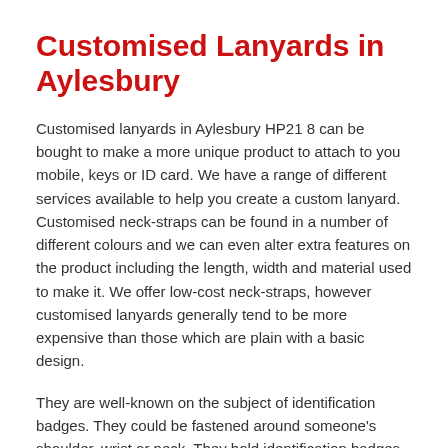Customised Lanyards in Aylesbury
Customised lanyards in Aylesbury HP21 8 can be bought to make a more unique product to attach to you mobile, keys or ID card. We have a range of different services available to help you create a custom lanyard. Customised neck-straps can be found in a number of different colours and we can even alter extra features on the product including the length, width and material used to make it. We offer low-cost neck-straps, however customised lanyards generally tend to be more expensive than those which are plain with a basic design.
They are well-known on the subject of identification badges. They could be fastened around someone's shoulder, wrist or neck. They hold identification badges, keys and other similar things. It is possible to change the material and design of the customizable neck-straps to suit particular customers. Retractable clips and metal clip fixing can be incorporated on a lanyard. You can discuss your requirements here by giving us a call with your confirmed design.